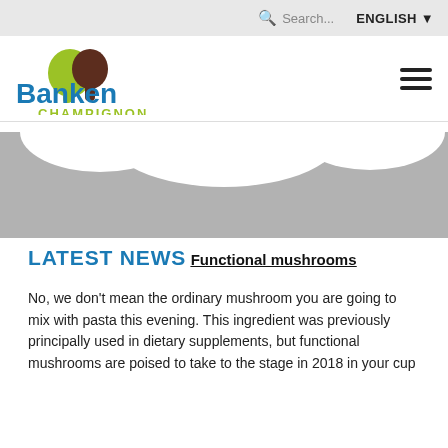Search... ENGLISH
[Figure (logo): Banken Champignons logo with mushroom icon in green and brown, and blue bold 'Banken' text with green 'CHAMPIGNONS' text below]
[Figure (photo): Hero banner image area showing grey placeholder with white arch shapes at top suggesting an outdoor or product photo]
LATEST NEWS
Functional mushrooms
No, we don't mean the ordinary mushroom you are going to mix with pasta this evening. This ingredient was previously principally used in dietary supplements, but functional mushrooms are poised to take to the stage in 2018 in your cup